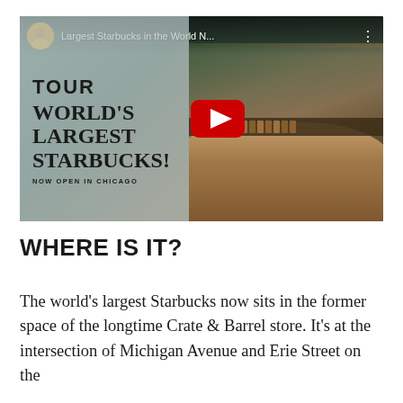[Figure (screenshot): YouTube video thumbnail showing 'Largest Starbucks in the World N...' with a circular avatar of a woman in a yellow top, a play button in the center, left overlay text reading 'TOUR WORLD'S LARGEST STARBUCKS! NOW OPEN IN CHICAGO', and interior photo of a large Starbucks store with a round bar counter and shelving.]
WHERE IS IT?
The world's largest Starbucks now sits in the former space of the longtime Crate & Barrel store. It's at the intersection of Michigan Avenue and Erie Street on the